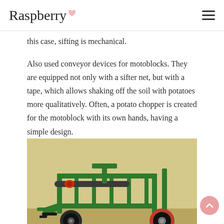Raspberry
this case, sifting is mechanical.
Also used conveyor devices for motoblocks. They are equipped not only with a sifter net, but with a tape, which allows shaking off the soil with potatoes more qualitatively. Often, a potato chopper is created for the motoblock with its own hands, having a simple design.
[Figure (photo): A green metal potato digger/chopper machine on wheels with a conveyor frame, plough attachment, and red clamps, photographed outdoors on dry grass/dirt ground.]